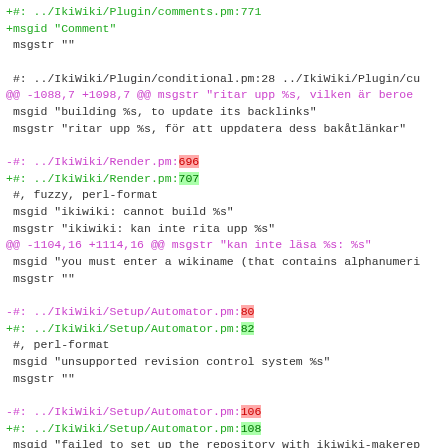diff code block showing gettext/po file changes with line number annotations in green (additions) and magenta (context/deletions), including changes to IkiWiki plugin comments, conditional, Render, Setup/Automator files